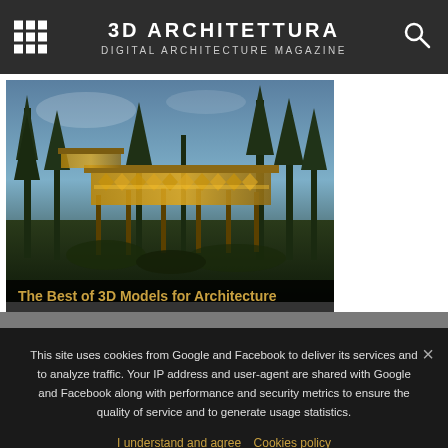3D ARCHITETTURA
DIGITAL ARCHITECTURE MAGAZINE
[Figure (photo): Architectural rendering of a modern elevated building structure with diamond-pattern wooden cladding, suspended among tall pine trees in a forest landscape at dusk/twilight.]
The Best of 3D Models for Architecture
This site uses cookies from Google and Facebook to deliver its services and to analyze traffic. Your IP address and user-agent are shared with Google and Facebook along with performance and security metrics to ensure the quality of service and to generate usage statistics.
I understand and agree   Cookies policy